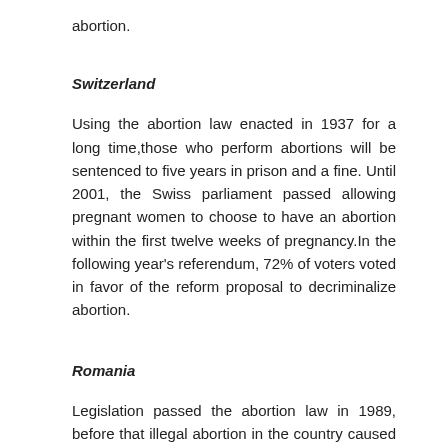abortion.
Switzerland
Using the abortion law enacted in 1937 for a long time,those who perform abortions will be sentenced to five years in prison and a fine. Until 2001, the Swiss parliament passed allowing pregnant women to choose to have an abortion within the first twelve weeks of pregnancy.In the following year's referendum, 72% of voters voted in favor of the reform proposal to decriminalize abortion.
Romania
Legislation passed the abortion law in 1989, before that illegal abortion in the country caused the death of half a